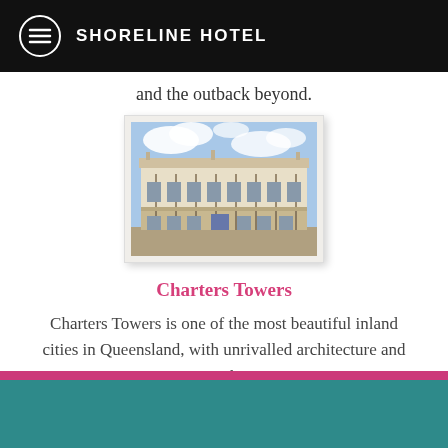SHORELINE HOTEL
and the outback beyond.
[Figure (photo): Two-storey historic Queensland colonial-style hotel building with wraparound verandahs, photographed against a partly cloudy sky.]
Charters Towers
Charters Towers is one of the most beautiful inland cities in Queensland, with unrivalled architecture and a unique history.